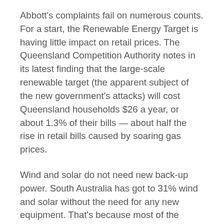Abbott's complaints fail on numerous counts. For a start, the Renewable Energy Target is having little impact on retail prices. The Queensland Competition Authority notes in its latest finding that the large-scale renewable target (the apparent subject of the new government's attacks) will cost Queensland households $26 a year, or about 1.3% of their bills — about half the rise in retail bills caused by soaring gas prices.
Wind and solar do not need new back-up power. South Australia has got to 31% wind and solar without the need for any new equipment. That's because most of the peaking plants that respond to changes in demand — and supply — already exist to cope when a whole bunch of people switch on air-conditioners at the same time, or when coal- or gas-fired generation has unexpected shutdowns, such as when the Millmerran coal-fired generator shut down last March, or the two major gas generators lost large amounts of capacity in South Australia. The